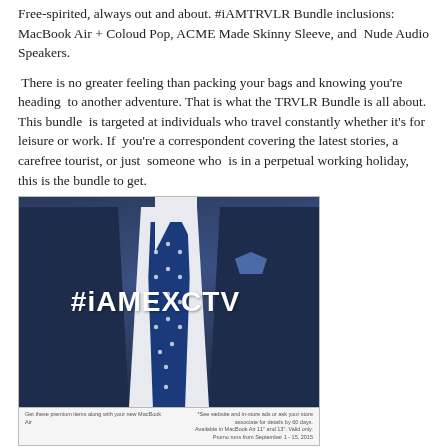Free-spirited, always out and about. #iAMTRVLR Bundle inclusions: MacBook Air + Coloud Pop, ACME Made Skinny Sleeve, and  Nude Audio Speakers.
There is no greater feeling than packing your bags and knowing you're heading  to another adventure. That is what the TRVLR Bundle is all about. This bundle  is targeted at individuals who travel constantly whether it's for leisure or work. If  you're a correspondent covering the latest stories, a carefree tourist, or just  someone who  is in a perpetual working holiday, this is the bundle to get.
[Figure (photo): Photo of a person in a navy blue suit with a polka-dot tie and pocket square, with white text overlay reading #iAMEXCTV, and a caption bar at the bottom.]